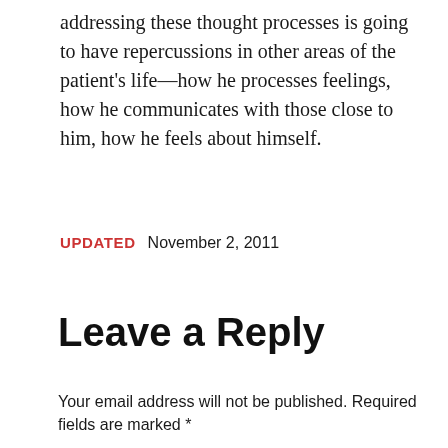addressing these thought processes is going to have repercussions in other areas of the patient's life—how he processes feelings, how he communicates with those close to him, how he feels about himself.
UPDATED  November 2, 2011
Leave a Reply
Your email address will not be published. Required fields are marked *